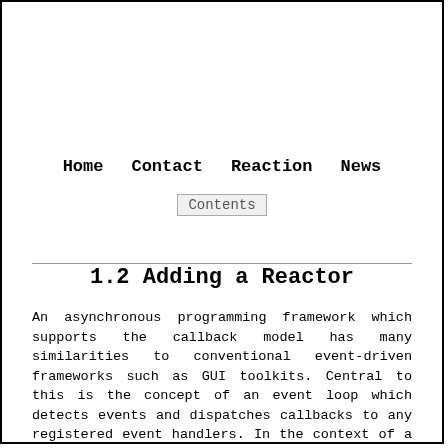Home   Contact   Reaction   News
Contents
1.2 Adding a Reactor
An asynchronous programming framework which supports the callback model has many similarities to conventional event-driven frameworks such as GUI toolkits. Central to this is the concept of an event loop which detects events and dispatches callbacks to any registered event handlers. In the context of a GUI toolkit an event would typically be a button click or keystroke; for the asynchronous programming framework the event would signal the